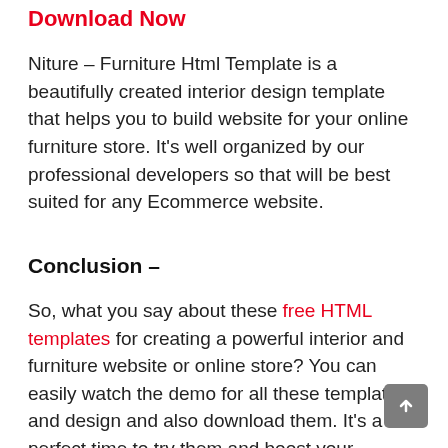Download Now
Niture – Furniture Html Template is a beautifully created interior design template that helps you to build website for your online furniture store. It's well organized by our professional developers so that will be best suited for any Ecommerce website.
Conclusion –
So, what you say about these free HTML templates for creating a powerful interior and furniture website or online store? You can easily watch the demo for all these templates and design and also download them. It's a perfect time to try them and boost your creativity